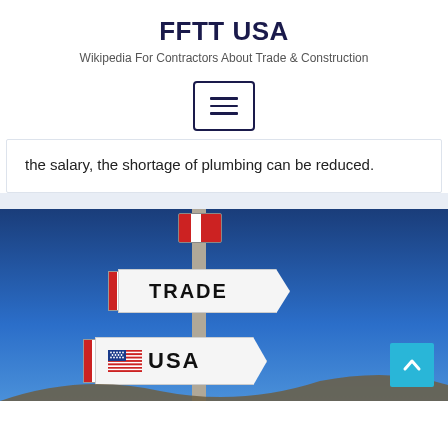FFTT USA
Wikipedia For Contractors About Trade & Construction
[Figure (other): Hamburger menu button icon with three horizontal lines inside a rounded rectangle border]
the salary, the shortage of plumbing can be reduced.
[Figure (photo): Photo of a signpost against a blue sky with two arrow signs: 'TRADE' (upper, pointing right) and 'USA' (lower, pointing right with an American flag icon). The signs have red and white stripes on the left side. Rocky terrain is visible at the bottom.]